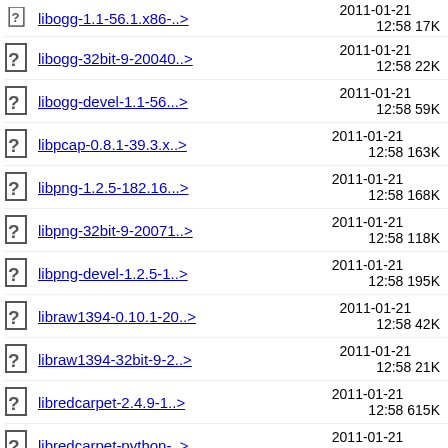libogg-1.1-56.1.x86-..> 2011-01-21 12:58 17K
libogg-32bit-9-20040..> 2011-01-21 12:58 22K
libogg-devel-1.1-56...> 2011-01-21 12:58 59K
libpcap-0.8.1-39.3.x..> 2011-01-21 12:58 163K
libpng-1.2.5-182.16...> 2011-01-21 12:58 168K
libpng-32bit-9-20071..> 2011-01-21 12:58 118K
libpng-devel-1.2.5-1..> 2011-01-21 12:58 195K
libraw1394-0.10.1-20..> 2011-01-21 12:58 42K
libraw1394-32bit-9-2..> 2011-01-21 12:58 21K
libredcarpet-2.4.9-1..> 2011-01-21 12:58 615K
libredcarpet-python-..> 2011-01-21 12:58 176K
libredcarpet-tools-2..> 2011-01-21 12:58 352K